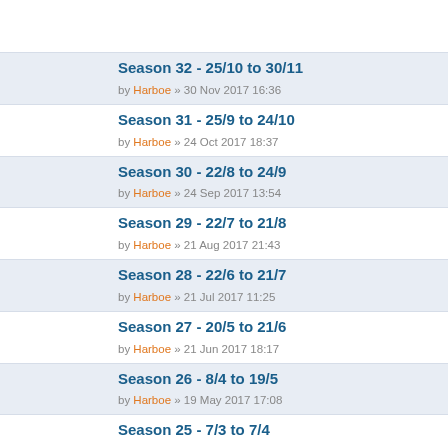Season 32 - 25/10 to 30/11
by Harboe » 30 Nov 2017 16:36
Season 31 - 25/9 to 24/10
by Harboe » 24 Oct 2017 18:37
Season 30 - 22/8 to 24/9
by Harboe » 24 Sep 2017 13:54
Season 29 - 22/7 to 21/8
by Harboe » 21 Aug 2017 21:43
Season 28 - 22/6 to 21/7
by Harboe » 21 Jul 2017 11:25
Season 27 - 20/5 to 21/6
by Harboe » 21 Jun 2017 18:17
Season 26 - 8/4 to 19/5
by Harboe » 19 May 2017 17:08
Season 25 - 7/3 to 7/4
by Harboe » 07 Apr 2017 16:40